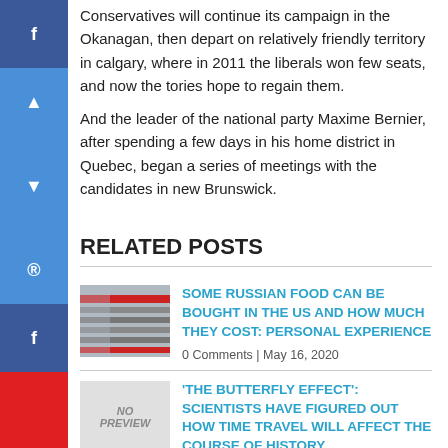Conservatives will continue its campaign in the Okanagan, then depart on relatively friendly territory in calgary, where in 2011 the liberals won few seats, and now the tories hope to regain them.
And the leader of the national party Maxime Bernier, after spending a few days in his home district in Quebec, began a series of meetings with the candidates in new Brunswick.
RELATED POSTS
SOME RUSSIAN FOOD CAN BE BOUGHT IN THE US AND HOW MUCH THEY COST: PERSONAL EXPERIENCE
0 Comments | May 16, 2020
'THE BUTTERFLY EFFECT': SCIENTISTS HAVE FIGURED OUT HOW TIME TRAVEL WILL AFFECT THE COURSE OF HISTORY
0 Comments | Aug 8, 2020